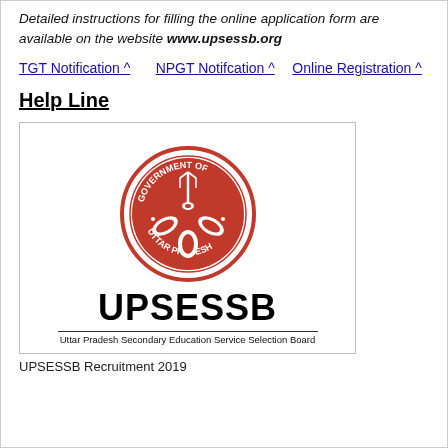Detailed instructions for filling the online application form are available on the website www.upsessb.org
TGT Notification ^ | NPGT Notifcation ^ | Online Registration ^
Help Line
[Figure (logo): Government of Uttar Pradesh seal (red circular emblem with fish and trident) above the text UPSESSB and 'Uttar Pradesh Secondary Education Service Selection Board']
UPSESSB Recruitment 2019